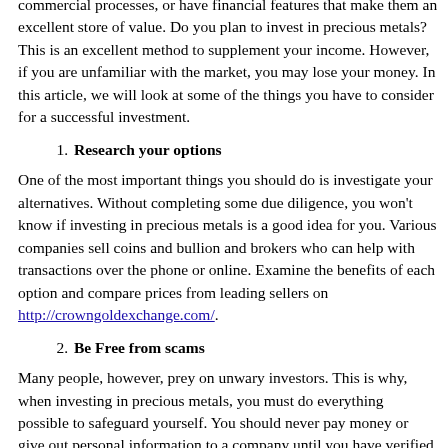commercial processes, or have financial features that make them an excellent store of value. Do you plan to invest in precious metals? This is an excellent method to supplement your income. However, if you are unfamiliar with the market, you may lose your money. In this article, we will look at some of the things you have to consider for a successful investment.
1. Research your options
One of the most important things you should do is investigate your alternatives. Without completing some due diligence, you won't know if investing in precious metals is a good idea for you. Various companies sell coins and bullion and brokers who can help with transactions over the phone or online. Examine the benefits of each option and compare prices from leading sellers on http://crowngoldexchange.com/.
2. Be Free from scams
Many people, however, prey on unwary investors. This is why, when investing in precious metals, you must do everything possible to safeguard yourself. You should never pay money or give out personal information to a company until you have verified that it is legitimate and has no outstanding complaints. As a result, do comprehensive research on the company before working with them.